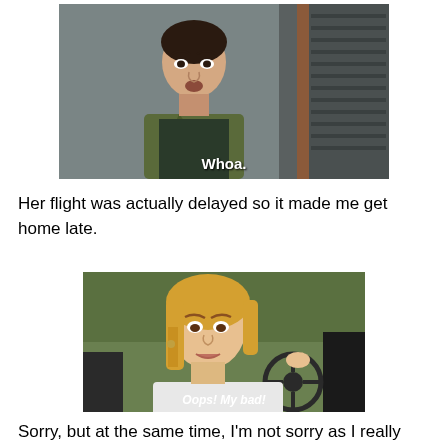[Figure (screenshot): Movie/TV scene screenshot of a man with a surprised expression, with subtitle 'Whoa.']
Her flight was actually delayed so it made me get home late.
[Figure (screenshot): Movie/TV scene screenshot of a blonde woman sitting in a car with a guilty expression, with subtitle 'Oops! My bad!']
Sorry, but at the same time, I'm not sorry as I really